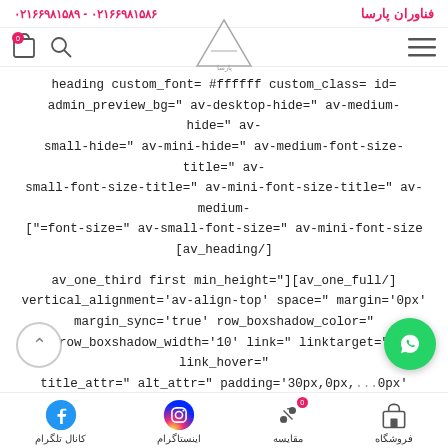فناوران پارسا | ۰۲۱۶۶۹۸۱۵۸۶ - ۰۲۱۶۶۹۸۱۵۸۹
[Figure (logo): Parsa tech logo - triangle shape with Persian text]
heading custom_font='#ffffff' custom_class=' id= admin_preview_bg=' av-desktop-hide=' av-medium-hide=' av-small-hide=' av-mini-hide=' av-medium-font-size-title=' av-small-font-size-title=' av-mini-font-size-title=' av-medium-["=font-size=' av-small-font-size=' av-mini-font-size [av_heading/]
av_one_third first min_height='][av_one_full/] vertical_alignment='av-align-top' space=' margin='0px' margin_sync='true' row_boxshadow_color=' row_boxshadow_width='10' link=' linktarget=' link_hover=' title_attr=' alt_attr=' padding='30px,0px,0px,' highlight_size='1.1' border=' border_color=' ra... 0x' radius_sync='true'
کانال تلگرام | اینستاگرام | مقایسه | فروشگاه